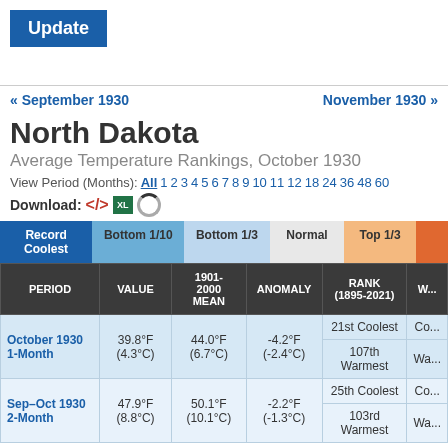Update
« September 1930   November 1930 »
North Dakota
Average Temperature Rankings, October 1930
View Period (Months): All 1 2 3 4 5 6 7 8 9 10 11 12 18 24 36 48 60
Download:
| PERIOD | VALUE | 1901-2000 MEAN | ANOMALY | RANK (1895-2021) | W... |
| --- | --- | --- | --- | --- | --- |
| October 1930 1-Month | 39.8°F (4.3°C) | 44.0°F (6.7°C) | -4.2°F (-2.4°C) | 21st Coolest | Co... |
|  |  |  |  | 107th Warmest | Wa... |
| Sep–Oct 1930 2-Month | 47.9°F (8.8°C) | 50.1°F (10.1°C) | -2.2°F (-1.3°C) | 25th Coolest | Co... |
|  |  |  |  | 103rd Warmest | Wa... |